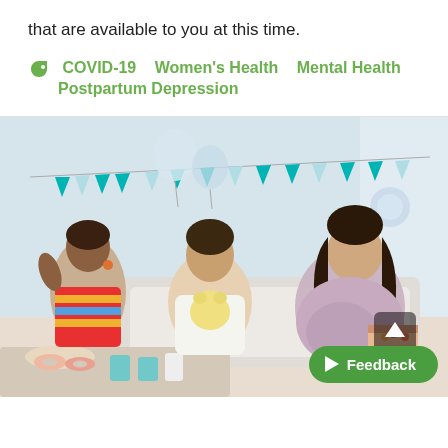that are available to you at this time.
COVID-19  Women's Health  Mental Health  Postpartum Depression
[Figure (photo): Three women at a baby shower. A smiling woman in the center holds a small yellow stuffed animal. A woman in a striped shirt on the left laughs. A pregnant woman on the right in a floral dress holds a gift. The room is decorated with teal and white bunting, balloons, and party food on the table.]